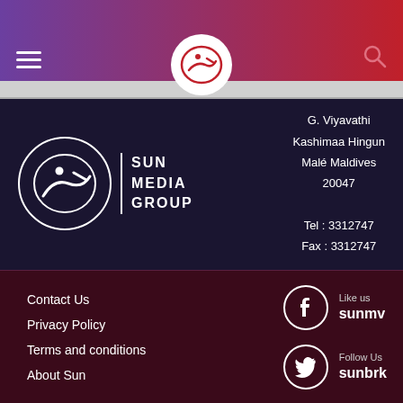[Figure (logo): Sun Media Group header navigation bar with hamburger menu, circular logo in white circle, and search icon on gradient purple-to-red background]
[Figure (logo): Sun Media Group logo - circle with Dhivehi script and text SUN MEDIA GROUP]
G. Viyavathi
Kashimaa Hingun
Malé Maldives
20047

Tel : 3312747
Fax : 3312747
Contact Us
Privacy Policy
Terms and conditions
About Sun
Like us
sunmv
Follow Us
sunbrk